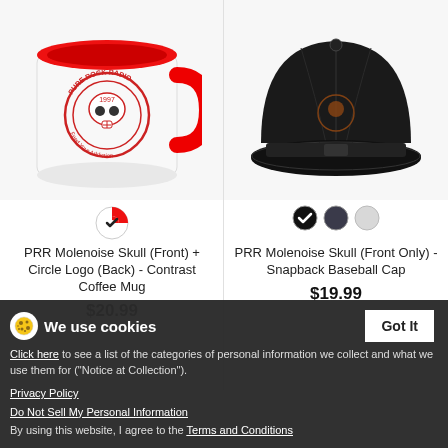[Figure (photo): White coffee mug with red handle and interior, featuring a red circle skull logo with 'Pure Rock Radio 1997' text and 'Feed Your Addiction' tagline]
[Figure (photo): Black snapback baseball cap with a small logo on the front]
PRR Molenoise Skull (Front) + Circle Logo (Back) - Contrast Coffee Mug
$20.99
PRR Molenoise Skull (Front Only) - Snapback Baseball Cap
$19.99
We use cookies
Click here to see a list of the categories of personal information we collect and what we use them for ("Notice at Collection").
Privacy Policy
Do Not Sell My Personal Information
By using this website, I agree to the Terms and Conditions